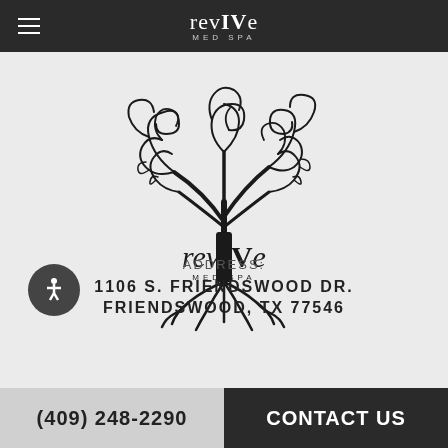revIVe MED SPA
[Figure (logo): revIVe Med Spa logo: decorative tree with swirling branches and roots, with 'revIVe' in serif font and 'MED SPA' below in sans-serif]
ADDRESS:
1106 S. FRIENDSWOOD DR.
FRIENDSWOOD, TX 77546
(409) 248-2290   CONTACT US